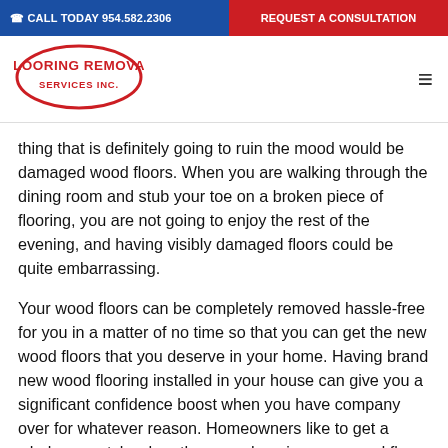☎ CALL TODAY 954.582.2306 | REQUEST A CONSULTATION
[Figure (logo): Flooring Removal Services Inc. logo in a red oval outline with bold red text]
thing that is definitely going to ruin the mood would be damaged wood floors. When you are walking through the dining room and stub your toe on a broken piece of flooring, you are not going to enjoy the rest of the evening, and having visibly damaged floors could be quite embarrassing.
Your wood floors can be completely removed hassle-free for you in a matter of no time so that you can get the new wood floors that you deserve in your home. Having brand new wood flooring installed in your house can give you a significant confidence boost when you have company over for whatever reason. Homeowners like to get a whole new style when they are choosing new wood floors